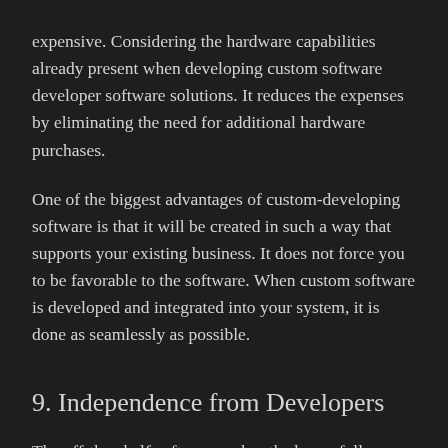expensive. Considering the hardware capabilities already present when developing custom software developer software solutions. It reduces the expenses by eliminating the need for additional hardware purchases.
One of the biggest advantages of custom-developing software is that it will be created in such a way that supports your existing business. It does not force you to be favorable to the software. When custom software is developed and integrated into your system, it is done as seamlessly as possible.
9. Independence from Developers
The off-the-shelf software makes the buyer fully dependent on the software developer. The user should have pre-established pricing for upgradation and pre-